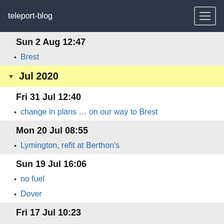teleport-blog
Sun 2 Aug 12:47
Brest
Jul 2020
Fri 31 Jul 12:40
change in plans … on our way to Brest
Mon 20 Jul 08:55
Lymington, refit at Berthon's
Sun 19 Jul 16:06
no fuel
Dover
Fri 17 Jul 10:23
Getting Amanzi ready for the circumnavigation
2012
Aug 2012